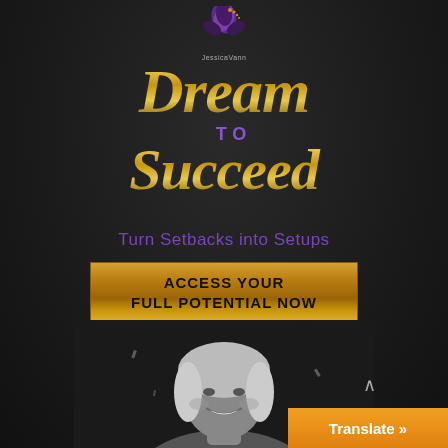[Figure (logo): Purple and gold stylized flower/logo mark with text 'JessicaVann' below]
Dream TO Succeed
Turn Setbacks into Setups
ACCESS YOUR FULL POTENTIAL NOW
[Figure (photo): Black and white photo of a smiling woman with blonde hair]
Translate »